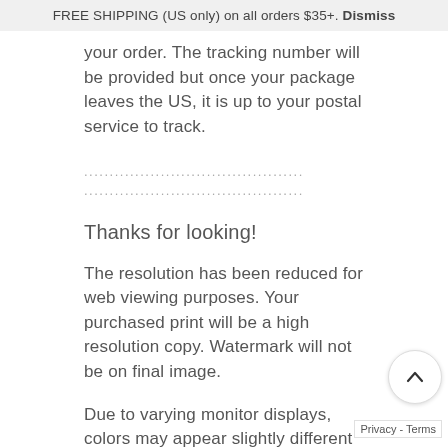FREE SHIPPING (US only) on all orders $35+. Dismiss
your order. The tracking number will be provided but once your package leaves the US, it is up to your postal service to track.
...........................................
...........................................
Thanks for looking!
The resolution has been reduced for web viewing purposes. Your purchased print will be a high resolution copy. Watermark will not be on final image.
Due to varying monitor displays, colors may appear slightly different than onscreen.
Purchasing an image does not transfer the rights for reproduction. They are copyright protected and may not